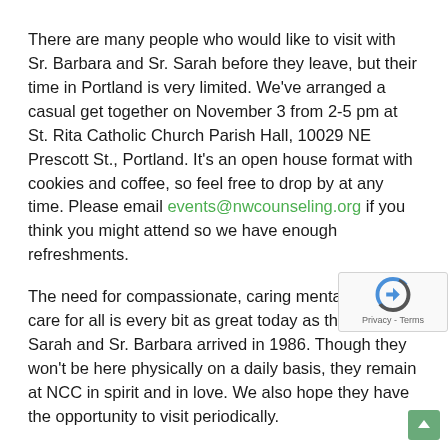There are many people who would like to visit with Sr. Barbara and Sr. Sarah before they leave, but their time in Portland is very limited. We've arranged a casual get together on November 3 from 2-5 pm at St. Rita Catholic Church Parish Hall, 10029 NE Prescott St., Portland. It's an open house format with cookies and coffee, so feel free to drop by at any time. Please email events@nwcounseling.org if you think you might attend so we have enough refreshments.
The need for compassionate, caring mental health care for all is every bit as great today as the day Sr. Sarah and Sr. Barbara arrived in 1986. Though they won't be here physically on a daily basis, they remain at NCC in spirit and in love. We also hope they have the opportunity to visit periodically.
Thank you for the role you've played in the life of The Northwest Catholic Counseling Center and your ongoing commitment to mental health for all in our community.